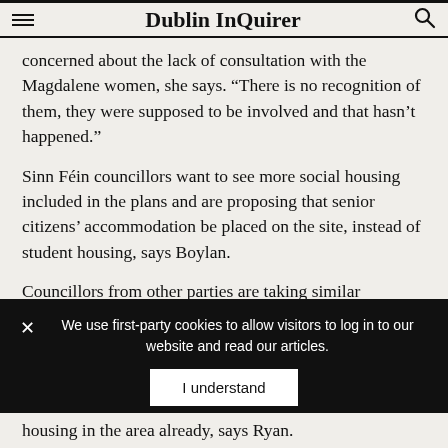Dublin InQuirer
concerned about the lack of consultation with the Magdalene women, she says. “There is no recognition of them, they were supposed to be involved and that hasn’t happened.”
Sinn Féin councillors want to see more social housing included in the plans and are proposing that senior citizens’ accommodation be placed on the site, instead of student housing, says Boylan.
Councillors from other parties are taking similar positions.
“We will definitely be opposing the sale,” says Éilis Ryan
We use first-party cookies to allow visitors to log in to our website and read our articles.
housing in the area already, says Ryan.